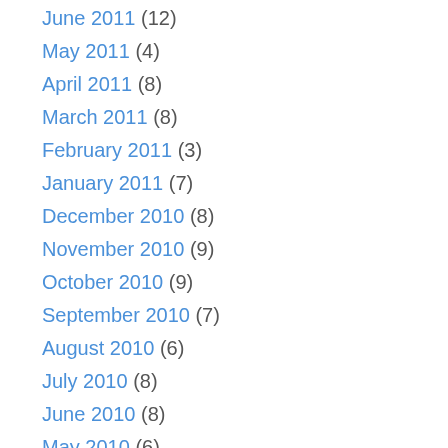June 2011 (12)
May 2011 (4)
April 2011 (8)
March 2011 (8)
February 2011 (3)
January 2011 (7)
December 2010 (8)
November 2010 (9)
October 2010 (9)
September 2010 (7)
August 2010 (6)
July 2010 (8)
June 2010 (8)
May 2010 (6)
April 2010 (3)